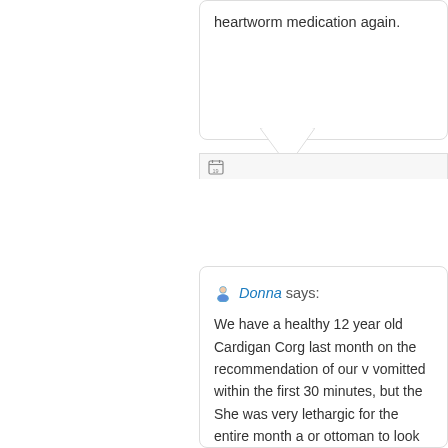heartworm medication again.
Donna says:
We have a healthy 12 year old Cardigan Corg last month on the recommendation of our v vomitted within the first 30 minutes, but the She was very lethargic for the entire month a or ottoman to look out the window which sh connection as we trusted our vet. Shelby wa self when we gave her dose two last Thursda who knows a corgi knows they love food, sh refusing to jump up. Several times we have c hind end. She pants and licks constantly. I st coming around. Something told me to look a didn't do it sooner. It is the ONLY change tha not be getting another dose, ever!